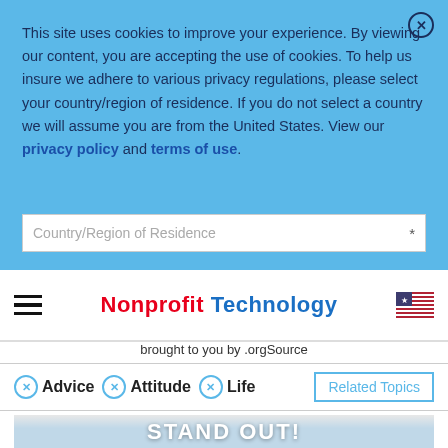This site uses cookies to improve your experience. By viewing our content, you are accepting the use of cookies. To help us insure we adhere to various privacy regulations, please select your country/region of residence. If you do not select a country we will assume you are from the United States. View our privacy policy and terms of use.
Country/Region of Residence
Nonprofit Technology brought to you by .orgSource
Advice  Attitude  Life  Related Topics
[Figure (photo): Partial image showing 'STAND OUT!' text on a blue book cover]